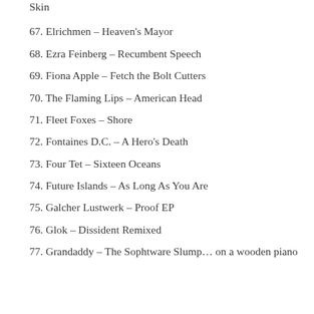Skin
67. Elrichmen – Heaven's Mayor
68. Ezra Feinberg – Recumbent Speech
69. Fiona Apple – Fetch the Bolt Cutters
70. The Flaming Lips – American Head
71. Fleet Foxes – Shore
72. Fontaines D.C. – A Hero's Death
73. Four Tet – Sixteen Oceans
74. Future Islands – As Long As You Are
75. Galcher Lustwerk – Proof EP
76. Glok – Dissident Remixed
77. Grandaddy – The Sophtware Slump… on a wooden piano